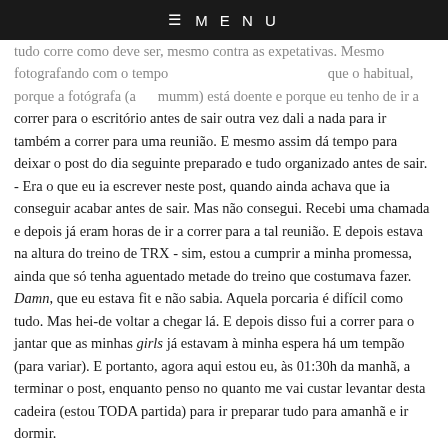≡ MENU
tudo corre como deve ser, mesmo contra as expetativas. Mesmo fotografando com o tempo mais apertado que o habitual, porque a fotógrafa (a lha mumm) está doente e porque eu tenho de ir a correr para o escritório antes de sair outra vez dali a nada para ir também a correr para uma reunião. E mesmo assim dá tempo para deixar o post do dia seguinte preparado e tudo organizado antes de sair.
- Era o que eu ia escrever neste post, quando ainda achava que ia conseguir acabar antes de sair. Mas não consegui. Recebi uma chamada e depois já eram horas de ir a correr para a tal reunião. E depois estava na altura do treino de TRX - sim, estou a cumprir a minha promessa, ainda que só tenha aguentado metade do treino que costumava fazer. Damn, que eu estava fit e não sabia. Aquela porcaria é difícil como tudo. Mas hei-de voltar a chegar lá. E depois disso fui a correr para o jantar que as minhas girls já estavam à minha espera há um tempão (para variar). E portanto, agora aqui estou eu, às 01:30h da manhã, a terminar o post, enquanto penso no quanto me vai custar levantar desta cadeira (estou TODA partida) para ir preparar tudo para amanhã e ir dormir.
Mas tudo está bem quando acaba bem. E hoje foi um dia bem bom. :) (hoje que agora já é ontem).